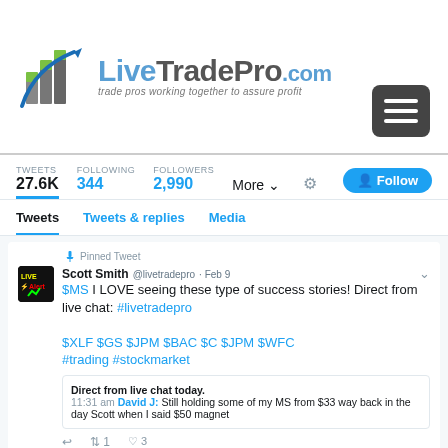[Figure (logo): LiveTradePro.com logo with green bar chart and blue arrow icon, tagline: trade pros working together to assure profit]
[Figure (screenshot): Twitter profile page for Scott Smith @livetradepro showing stats: TWEETS 27.6K, FOLLOWING 344, FOLLOWERS 2,990. Pinned tweet: $MS I LOVE seeing these type of success stories! Direct from live chat: #livetradepro $XLF $GS $JPM $BAC $C $JPM $WFC #trading #stockmarket. Quote card: Direct from live chat today. 11:31 am David J: Still holding some of my MS from $33 way back in the day Scott when I said $50 magnet. Second tweet preview from Scott Smith @livetradepro 2h: $SPY Big percentage gainers are most often attained by careful]